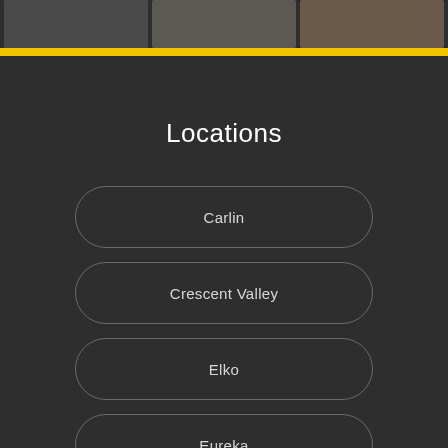[Figure (photo): Three dark thumbnail images side by side at the top of the page]
Locations
Carlin
Crescent Valley
Elko
Eureka